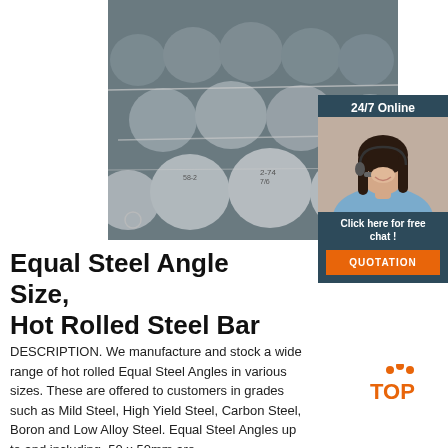[Figure (photo): Bundle of hot rolled steel round bars/rods bound with wire, viewed from the end showing circular cross-sections]
[Figure (photo): 24/7 online customer service representative - smiling woman with headset]
24/7 Online
Click here for free chat !
QUOTATION
Equal Steel Angle Size, Hot Rolled Steel Bar
DESCRIPTION. We manufacture and stock a wide range of hot rolled Equal Steel Angles in various sizes. These are offered to customers in grades such as Mild Steel, High Yield Steel, Carbon Steel, Boron and Low Alloy Steel. Equal Steel Angles up to and including, 50 x 50mm are
[Figure (logo): TOP logo with orange dots above and orange text reading TOP]